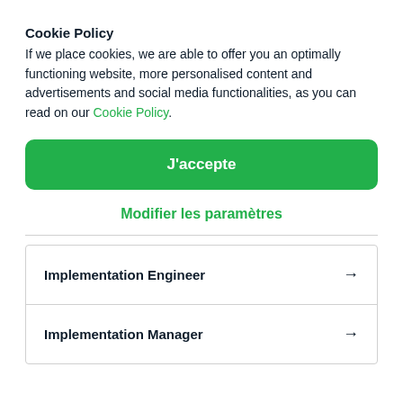Cookie Policy
If we place cookies, we are able to offer you an optimally functioning website, more personalised content and advertisements and social media functionalities, as you can read on our Cookie Policy.
J'accepte
Modifier les paramètres
Implementation Engineer →
Implementation Manager →